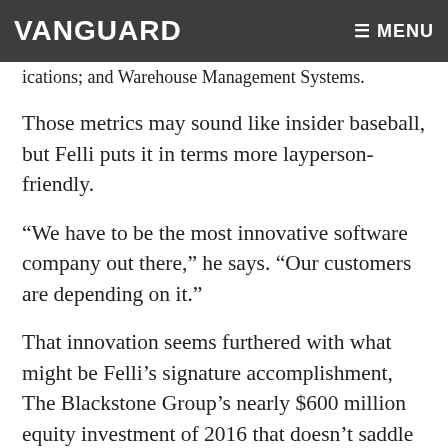VANGUARD  ☰ MENU
ications; and Warehouse Management Systems.
Those metrics may sound like insider baseball, but Felli puts it in terms more layperson-friendly.
“We have to be the most innovative software company out there,” he says. “Our customers are depending on it.”
That innovation seems furthered with what might be Felli’s signature accomplishment, The Blackstone Group’s nearly $600 million equity investment of 2016 that doesn’t saddle JDA with any cash interest costs. With the funds going